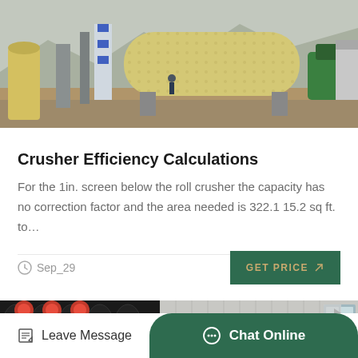[Figure (photo): Outdoor industrial mining/crushing equipment facility with large cylindrical ball mill and various machinery on a concrete pad, mountains in background]
Crusher Efficiency Calculations
For the 1in. screen below the roll crusher the capacity has no correction factor and the area needed is 322.1 15.2 sq ft. to…
Sep_29
[Figure (photo): Indoor industrial facility with multiple disc/spiral crushers or conveyors on orange frames in a row, white corrugated metal building wall in background]
Leave Message
Chat Online